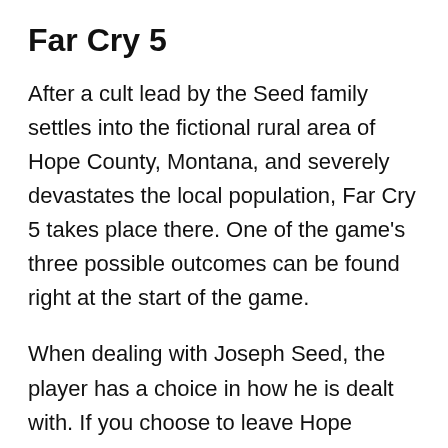Far Cry 5
After a cult lead by the Seed family settles into the fictional rural area of Hope County, Montana, and severely devastates the local population, Far Cry 5 takes place there. One of the game’s three possible outcomes can be found right at the start of the game.
When dealing with Joseph Seed, the player has a choice in how he is dealt with. If you choose to leave Hope County at the beginning of the game without fighting Joseph, the game will automatically terminate and reveal a secret ending. Neither of the other two possible endings